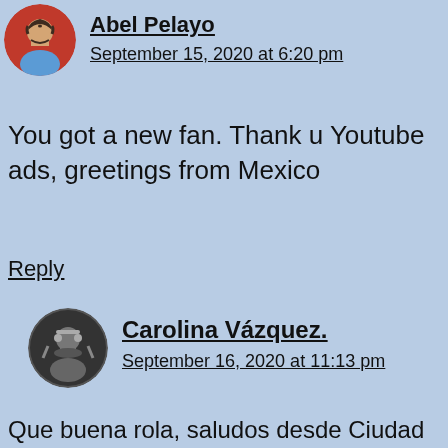[Figure (photo): Circular avatar photo of a man with beard]
Abel Pelayo
September 15, 2020 at 6:20 pm
You got a new fan. Thank u Youtube ads, greetings from Mexico
Reply
[Figure (photo): Circular avatar photo in black and white]
Carolina Vázquez.
September 16, 2020 at 11:13 pm
Que buena rola, saludos desde Ciudad de México.🙂